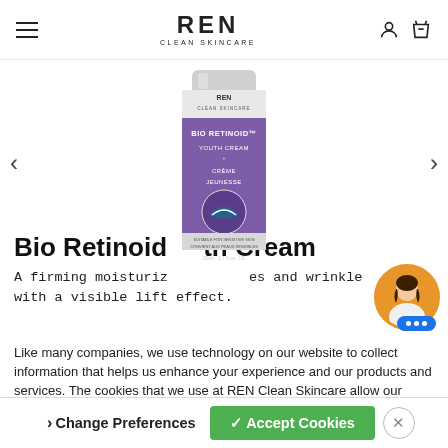REN CLEAN SKINCARE
[Figure (photo): REN Clean Skincare Bio Retinoid Youth Cream product bottle, purple with white text]
Bio Retinoid Youth Cream
A firming moisturizer that reduces lines and wrinkles with a visible lift effect.
Like many companies, we use technology on our website to collect information that helps us enhance your experience and our products and services. The cookies that we use at REN Clean Skincare allow our website to work and help us to understand what information and advertising is most useful to visitors.
★★☆ 23 Reviews
> Change Preferences   ✓ Accept Cookies   ×